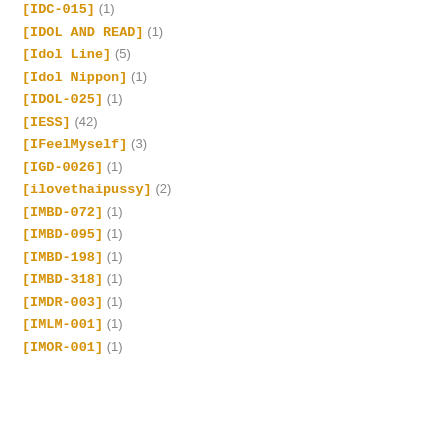[IDC-015] (1)
[IDOL AND READ] (1)
[Idol Line] (5)
[Idol Nippon] (1)
[IDOL-025] (1)
[IESS] (42)
[IFeelMyself] (3)
[IGD-0026] (1)
[ilovethaipussy] (2)
[IMBD-072] (1)
[IMBD-095] (1)
[IMBD-198] (1)
[IMBD-318] (1)
[IMDR-003] (1)
[IMLM-001] (1)
[IMOR-001] (1)